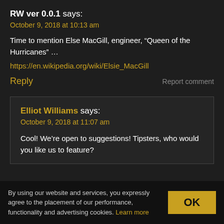RW ver 0.0.1 says:
October 9, 2018 at 10:13 am
Time to mention Else MacGill, engineer, “Queen of the Hurricanes” …
https://en.wikipedia.org/wiki/Elsie_MacGill
Reply
Report comment
Elliot Williams says:
October 9, 2018 at 11:07 am
Cool! We’re open to suggestions! Tipsters, who would you like us to feature?
By using our website and services, you expressly agree to the placement of our performance, functionality and advertising cookies. Learn more